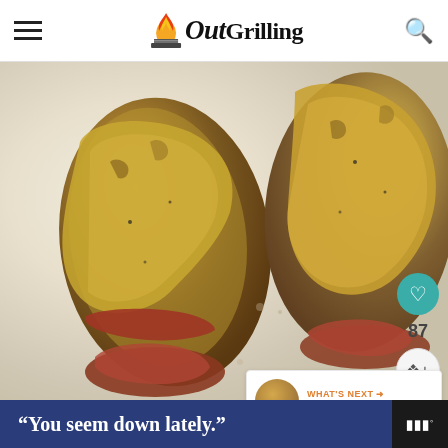Out Grilling
[Figure (photo): Close-up photo of BBQ mustard ribs on a white surface, coated with golden-yellow mustard glaze]
Remove ribs to a large sheet
Brush with mustard glaze
[Figure (screenshot): WHAT'S NEXT panel showing BBQ Mustard Ribs thumbnail]
“You seem down lately.”